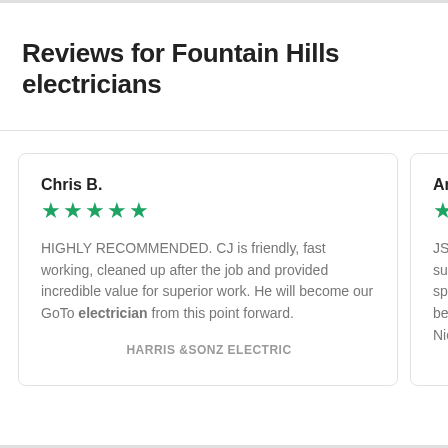Reviews for Fountain Hills electricians
Chris B.
★★★★★
HIGHLY RECOMMENDED. CJ is friendly, fast working, cleaned up after the job and provided incredible value for superior work. He will become our GoTo electrician from this point forward.
HARRIS &SONZ ELECTRIC
Antho...
★★★★
JS was super q... speed a... before. Nicky J...
AL...